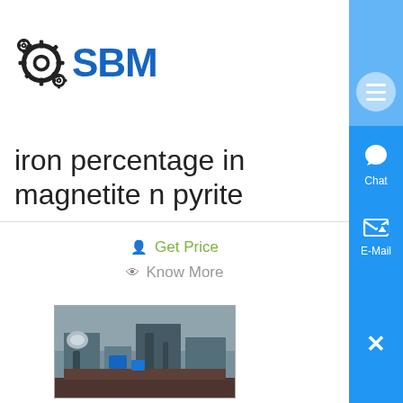[Figure (logo): SBM logo with gear icon and blue SBM text]
iron percentage in magnetite n pyrite
Get Price
Know More
[Figure (photo): Industrial machinery/equipment photo]
iron percentage in magnetite pyrite